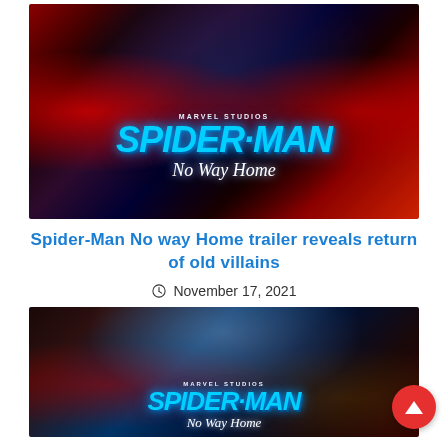[Figure (photo): Spider-Man: No Way Home movie promotional image showing Tom Holland in the center with multiple Spider-Man versions and villains surrounding him, with 'SPIDER-MAN No Way Home' text overlay and Marvel Studios branding]
Spider-Man No way Home trailer reveals return of old villains
November 17, 2021
[Figure (photo): Second Spider-Man: No Way Home promotional image showing a snowy/icy background with the movie title 'SPIDER-MAN No Way Home' and Marvel Studios branding, partially cut off at the bottom]